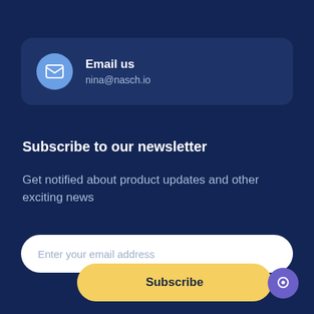[Figure (infographic): Email contact card with envelope icon in blue circle, showing 'Email us' and 'nina@nasch.io']
Subscribe to our newsletter
Get notified about product updates and other exciting news
[Figure (infographic): Email input field with placeholder text 'Enter your email address']
[Figure (infographic): Yellow Subscribe button and purple chat bubble icon in bottom right]